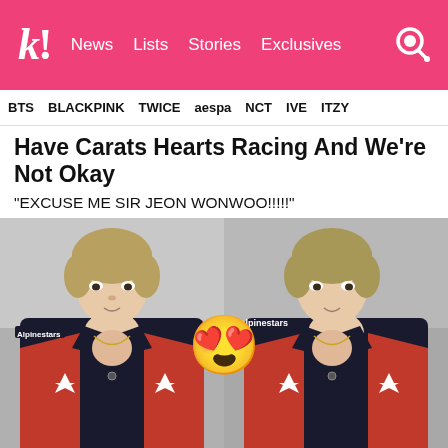k! News Lists Stories Exclusives
BTS  BLACKPINK  TWICE  aespa  NCT  IVE  ITZY
Have Carats Hearts Racing And We're Not Okay
“EXCUSE ME SIR JEON WONWOO!!!!!”
[Figure (photo): Two side-by-side photos of Jeon Wonwoo (SEVENTEEN) wearing a black and red Alpinestars racing jacket with chest partially open, with a heart-eyes emoji overlaid in the center between the two photos.]